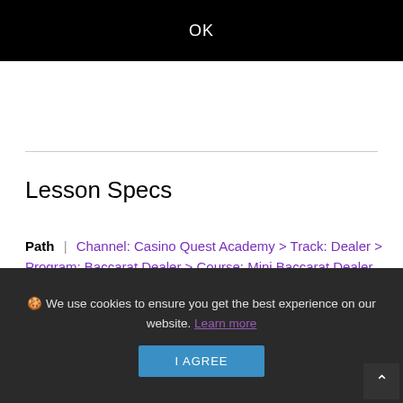OK
Lesson Specs
Path | Channel: Casino Quest Academy > Track: Dealer > Program: Baccarat Dealer > Course: Mini Baccarat Dealer
Date Launched | 12/2/2020
Length | 27 min, 21 sec
🍪 We use cookies to ensure you get the best experience on our website. Learn more
I AGREE